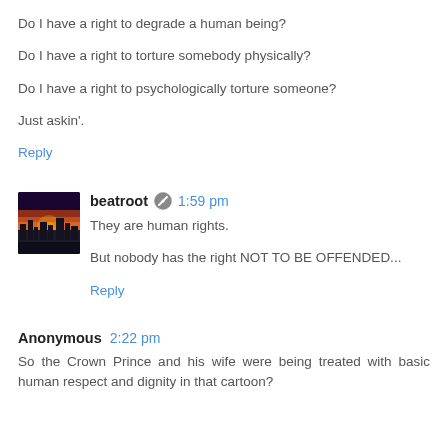Do I have a right to degrade a human being?

Do I have a right to torture somebody physically?

Do I have a right to psychologically torture someone?

Just askin'.
Reply
beatroot  1:59 pm
They are human rights.

But nobody has the right NOT TO BE OFFENDED...
Reply
Anonymous  2:22 pm
So the Crown Prince and his wife were being treated with basic human respect and dignity in that cartoon?